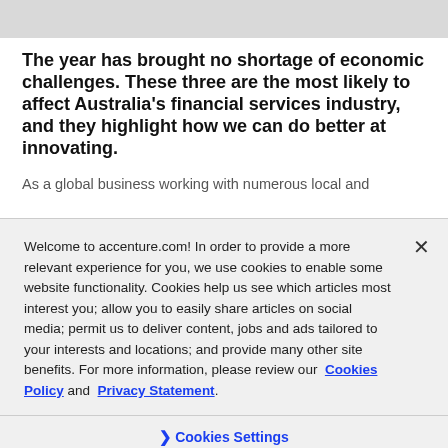The year has brought no shortage of economic challenges. These three are the most likely to affect Australia's financial services industry, and they highlight how we can do better at innovating.
As a global business working with numerous local and
Welcome to accenture.com! In order to provide a more relevant experience for you, we use cookies to enable some website functionality. Cookies help us see which articles most interest you; allow you to easily share articles on social media; permit us to deliver content, jobs and ads tailored to your interests and locations; and provide many other site benefits. For more information, please review our Cookies Policy and Privacy Statement.
Cookies Settings